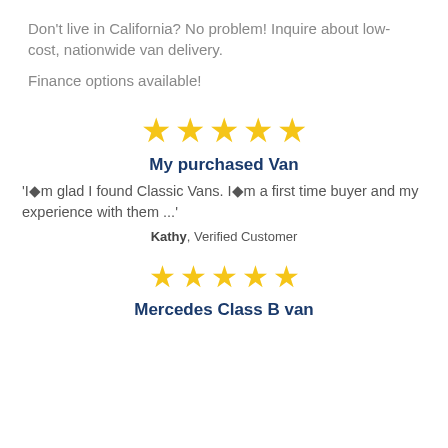Don't live in California? No problem! Inquire about low-cost, nationwide van delivery.
Finance options available!
[Figure (infographic): Five gold star rating icons in a row]
My purchased Van
'I◆m glad I found Classic Vans. I◆m a first time buyer and my experience with them ...'
Kathy, Verified Customer
[Figure (infographic): Five gold star rating icons in a row]
Mercedes Class B van